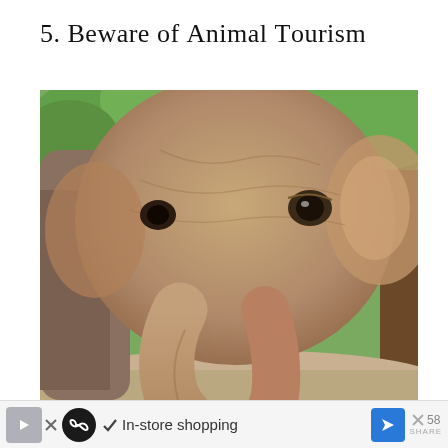5. Beware of Animal Tourism
[Figure (photo): Close-up photograph of an elephant's face and trunk, with a smiling blonde woman with sunglasses visible at the lower right, and a person in a plaid shirt in the background among green foliage. Two circular blue UI buttons (heart/like and share) are overlaid at the right edge.]
[Figure (screenshot): Advertisement bar at the bottom of the page showing app icons (gray arrow, play triangle, black loop/infinity circle icon), a checkmark followed by 'In-store shopping' text, a blue navigation arrow icon, and a close/share block on the right with x symbol and number 58.]